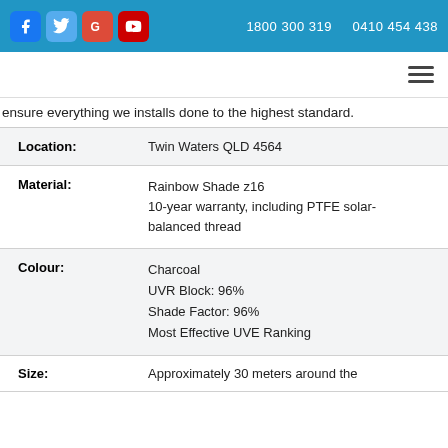1800 300 319   0410 454 438
ensure everything we installs done to the highest standard.
| Field | Value |
| --- | --- |
| Location: | Twin Waters QLD 4564 |
| Material: | Rainbow Shade z16
10-year warranty, including PTFE solar-balanced thread |
| Colour: | Charcoal
UVR Block: 96%
Shade Factor: 96%
Most Effective UVE Ranking |
| Size: | Approximately 30 meters around the |